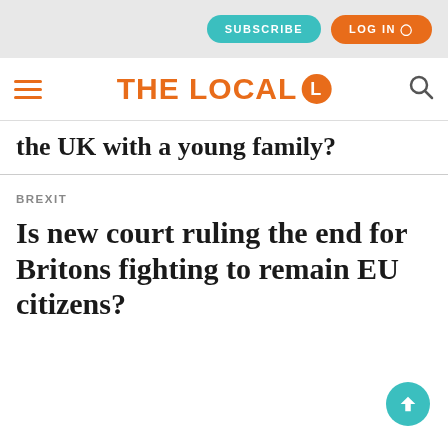SUBSCRIBE | LOG IN
[Figure (logo): The Local logo with hamburger menu and search icon]
the UK with a young family?
BREXIT
Is new court ruling the end for Britons fighting to remain EU citizens?